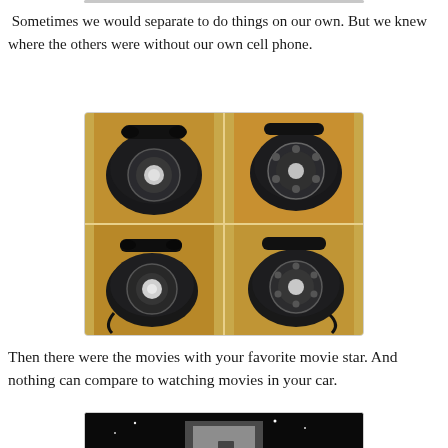Sometimes we would separate to do things on our own. But we knew where the others were without our own cell phone.
[Figure (photo): Four black rotary dial telephones arranged in a 2x2 grid on a warm yellow/tan surface. Each phone is a classic mid-20th century style rotary desk phone, black in color, shown from slightly different angles.]
Then there were the movies with your favorite movie star. And nothing can compare to watching movies in your car.
[Figure (photo): Black and white photo of a drive-in movie theater at night. The large screen is visible in the background with a bright light/star visible. Cars are parked in front watching the movie.]